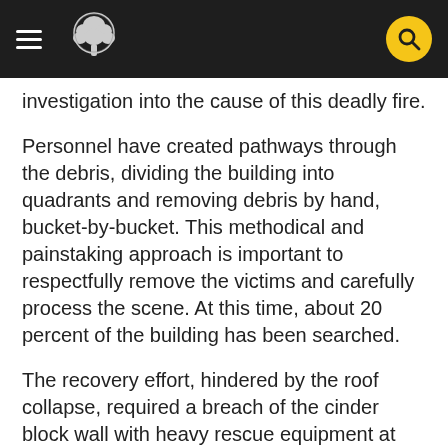Navigation header with hamburger menu, tree logo, and search button
investigation into the cause of this deadly fire.
Personnel have created pathways through the debris, dividing the building into quadrants and removing debris by hand, bucket-by-bucket. This methodical and painstaking approach is important to respectfully remove the victims and carefully process the scene. At this time, about 20 percent of the building has been searched.
The recovery effort, hindered by the roof collapse, required a breach of the cinder block wall with heavy rescue equipment at